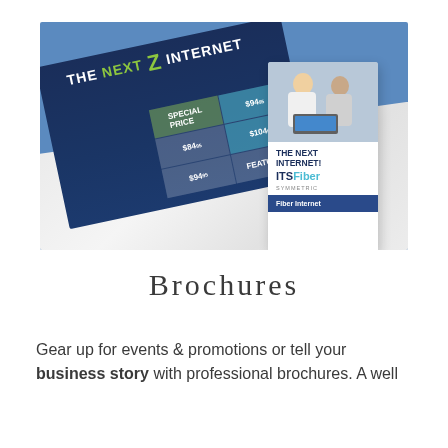[Figure (photo): Marketing brochures for ITS Fiber internet service. Shows a flat brochure titled 'THE NEXT Z INTERNET' with pricing grid, and a vertical rack card showing the ITS Fiber logo, two people using a laptop, and 'Fiber Internet' footer text. Both brochures are displayed on a white marble surface against a blue background.]
Brochures
Gear up for events & promotions or tell your business story with professional brochures. A well